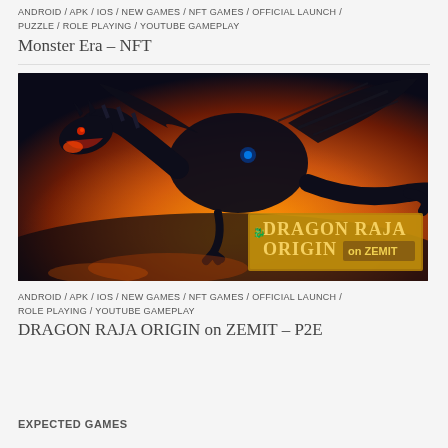ANDROID / APK / IOS / NEW GAMES / NFT GAMES / OFFICIAL LAUNCH / PUZZLE / ROLE PLAYING / YOUTUBE GAMEPLAY
Monster Era – NFT
[Figure (illustration): Dragon Raja Origin on ZEMIT game banner showing a large dark dragon against a fiery orange sky background with the game title text.]
ANDROID / APK / IOS / NEW GAMES / NFT GAMES / OFFICIAL LAUNCH / ROLE PLAYING / YOUTUBE GAMEPLAY
DRAGON RAJA ORIGIN on ZEMIT – P2E
EXPECTED GAMES